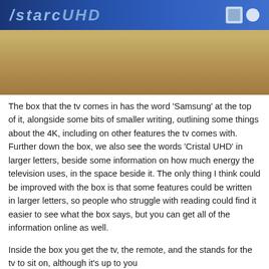[Figure (photo): Photo of a Samsung TV box showing 'Cristal UHD' branding on a blue banner at the top, with a wooden surface visible below]
The box that the tv comes in has the word 'Samsung' at the top of it, alongside some bits of smaller writing, outlining some things about the 4K, including on other features the tv comes with. Further down the box, we also see the words 'Cristal UHD' in larger letters, beside some information on how much energy the television uses, in the space beside it. The only thing I think could be improved with the box is that some features could be written in larger letters, so people who struggle with reading could find it easier to see what the box says, but you can get all of the information online as well.
Inside the box you get the tv, the remote, and the stands for the tv to sit on, although it's up to you